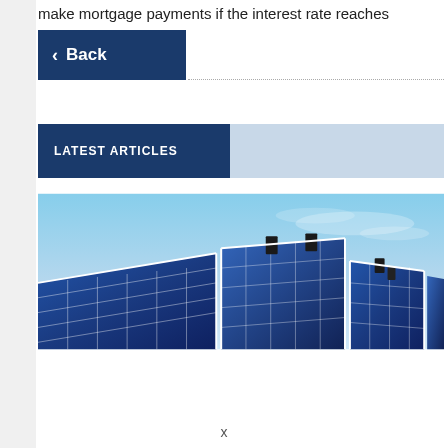make mortgage payments if the interest rate reaches
Back
LATEST ARTICLES
[Figure (photo): Solar panels angled upward against a blue sky, arranged in a row]
x